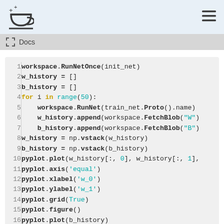Docs
[Figure (screenshot): Code editor screenshot showing Python code lines 1-17 with syntax highlighting on a light gray background]